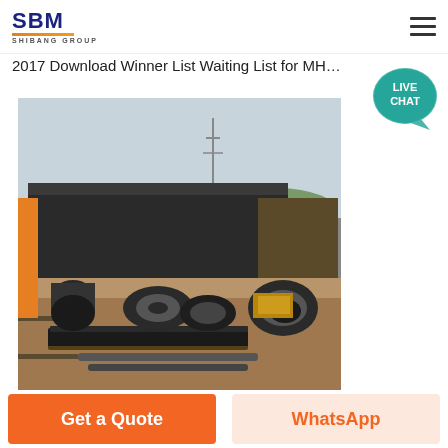SBM SHIBANG GROUP
2017 Download Winner List Waiting List for MHADA Mill
[Figure (photo): Outdoor industrial yard with metal pipes, steel coils, large cylindrical components, flat steel plates, and factory/warehouse buildings in the background. Dirt ground with construction materials scattered around.]
Get a Quote
WhatsApp